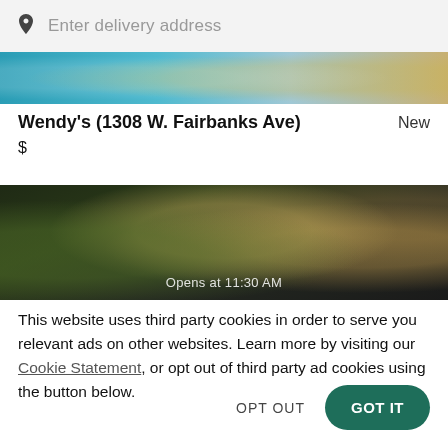Enter delivery address
Wendy's (1308 W. Fairbanks Ave)
New
$
[Figure (photo): Food delivery app restaurant banner image strip — colorful overhead food photos]
[Figure (photo): Dark overhead food photo of Asian dishes with text 'Opens at 11:30 AM' overlaid]
This website uses third party cookies in order to serve you relevant ads on other websites. Learn more by visiting our Cookie Statement, or opt out of third party ad cookies using the button below.
OPT OUT
GOT IT